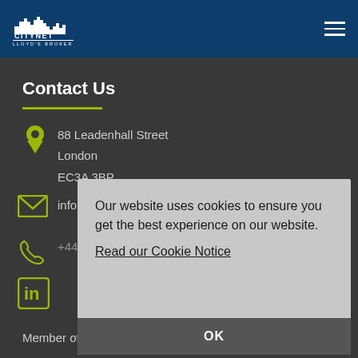[Figure (logo): Citynet Lloyd's Broker logo with white city skyline silhouette on dark blue background]
Contact Us
88 Leadenhall Street
London
EC3A 3BP
info@citynet.co.uk
+44 (0)20 7488 7950
Member of:
Our website uses cookies to ensure you get the best experience on our website.
Read our Cookie Notice
OK